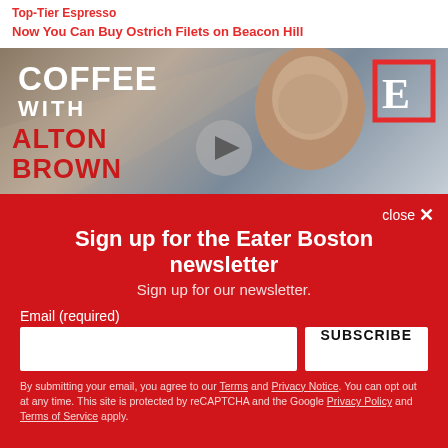Top-Tier Espresso
Now You Can Buy Ostrich Filets on Beacon Hill
[Figure (photo): Video thumbnail showing a man with glasses in front of a sign reading COFFEE WITH ALTON BROWN, with a play button overlay and Eater E logo]
Sign up for the Eater Boston newsletter
Sign up for our newsletter.
Email (required)
SUBSCRIBE
By submitting your email, you agree to our Terms and Privacy Notice. You can opt out at any time. This site is protected by reCAPTCHA and the Google Privacy Policy and Terms of Service apply.